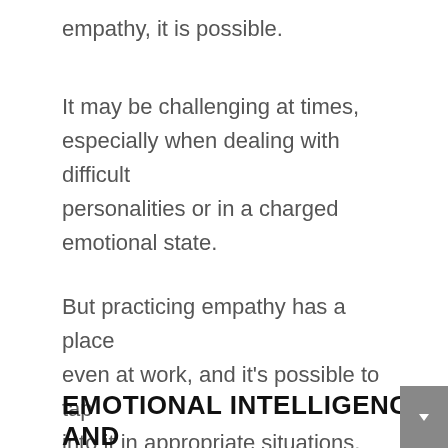empathy, it is possible.
It may be challenging at times, especially when dealing with difficult personalities or in a charged emotional state.
But practicing empathy has a place even at work, and it's possible to tap into it in appropriate situations.
EMOTIONAL INTELLIGENCE AND EMPATHY